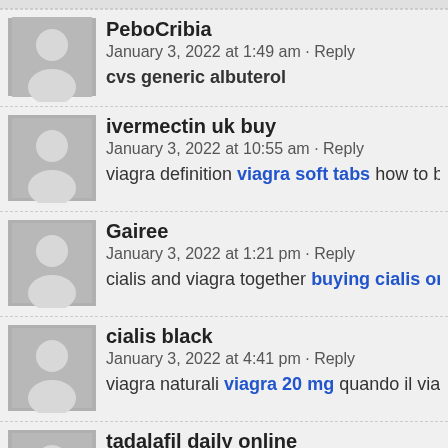PeboCribia
January 3, 2022 at 1:49 am · Reply
cvs generic albuterol
ivermectin uk buy
January 3, 2022 at 10:55 am · Reply
viagra definition viagra soft tabs how to buy cialis chea
Gairee
January 3, 2022 at 1:21 pm · Reply
cialis and viagra together buying cialis online safely b
cialis black
January 3, 2022 at 4:41 pm · Reply
viagra naturali viagra 20 mg quando il viagra non funzi
tadalafil daily online
January 3, 2022 at 9:34 pm · Reply
cialis without prescription cost tadalafil generic